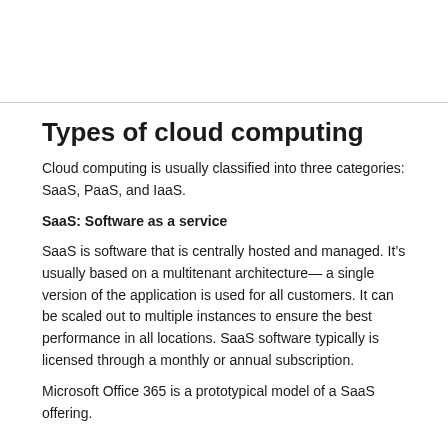Types of cloud computing
Cloud computing is usually classified into three categories: SaaS, PaaS, and IaaS.
SaaS: Software as a service
SaaS is software that is centrally hosted and managed. It’s usually based on a multitenant architecture— a single version of the application is used for all customers. It can be scaled out to multiple instances to ensure the best performance in all locations. SaaS software typically is licensed through a monthly or annual subscription.
Microsoft Office 365 is a prototypical model of a SaaS offering.